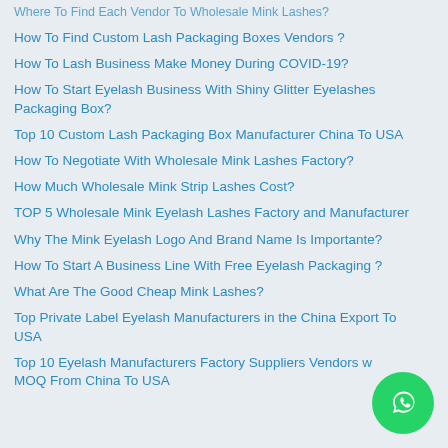Where To Find Each Vendor To Wholesale Mink Lashes?
How To Find Custom Lash Packaging Boxes Vendors ?
How To Lash Business Make Money During COVID-19?
How To Start Eyelash Business With Shiny Glitter Eyelashes Packaging Box?
Top 10 Custom Lash Packaging Box Manufacturer China To USA
How To Negotiate With Wholesale Mink Lashes Factory?
How Much Wholesale Mink Strip Lashes Cost?
TOP 5 Wholesale Mink Eyelash Lashes Factory and Manufacturer
Why The Mink Eyelash Logo And Brand Name Is Importante?
How To Start A Business Line With Free Eyelash Packaging ?
What Are The Good Cheap Mink Lashes?
Top Private Label Eyelash Manufacturers in the China Export To USA
Top 10 Eyelash Manufacturers Factory Suppliers Vendors with MOQ From China To USA